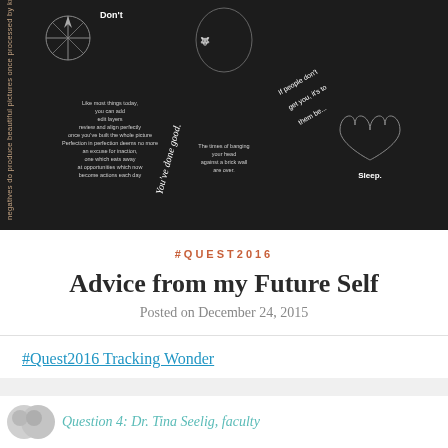[Figure (infographic): Dark-themed motivational infographic with white text on black background, featuring decorative elements including a compass rose, wolf, heart, feather, and dragon. Contains multiple inspirational quotes about sleep, rest, skills, friends, and personal growth. Text includes: 'Don't...', 'negatives do produce beautiful pictures once processed by knowledge and...', 'Like most things today you can add edit layers review and align perfectly...', 'I'm proud of you for finally valuing your skills.', 'You've done good.', 'The times of banging your head against a brick wall are over.', 'If people don't get you, it's to them be...', 'Sleep.', 'Rest.', 'You've made a lot of new friends.', 'Some have gone some come in. Some let you know they're alive and well every day, while some make you smile every now and then. Treasure them all. They'll still be here for the new you.']
#QUEST2016
Advice from my Future Self
Posted on December 24, 2015
#Quest2016 Tracking Wonder
Question 4: Dr. Tina Seelig, faculty...